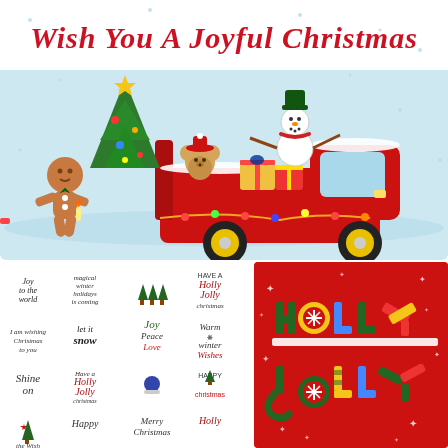[Figure (illustration): Christmas illustration: cursive red text 'Wish You A Joyful Christmas' at top, below is a red pickup truck carrying a decorated Christmas tree, snowman, teddy bear, and wrapped gifts with colorful lights. A gingerbread man stands beside the truck. Snowy light blue background.]
[Figure (illustration): Grid of Christmas typography phrases and icons in various handwritten/script styles: 'Joy to the world', 'magical winter holidays is coming', small Christmas tree icons, 'HAVE A Holly Jolly christmas', 'I am wishing Christmas to you', 'let it snow', 'Joy Peace Love', 'Warm winter Wishes', 'Shine on', 'Have a Holly Jolly christmas', 'Santa is Watching', 'HAPPY christmas', 'the Wish', 'Happy...', 'Merry Christmas', 'Holly...' with small Christmas tree and star icons.]
[Figure (illustration): Red background card with colorful block letters spelling 'HOLLY JOLLY' in green, yellow, blue, white, red colors decorated with snowflakes, stars, and patterns. White stars scattered around on red background.]